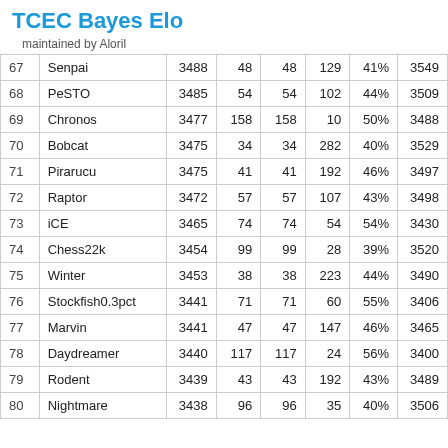TCEC Bayes Elo
maintained by Aloril
|  | Name | Elo |  |  |  | % |  |
| --- | --- | --- | --- | --- | --- | --- | --- |
| 67 | Senpai | 3488 | 48 | 48 | 129 | 41% | 3549 |
| 68 | PeSTO | 3485 | 54 | 54 | 102 | 44% | 3509 |
| 69 | Chronos | 3477 | 158 | 158 | 10 | 50% | 3488 |
| 70 | Bobcat | 3475 | 34 | 34 | 282 | 40% | 3529 |
| 71 | Pirarucu | 3475 | 41 | 41 | 192 | 46% | 3497 |
| 72 | Raptor | 3472 | 57 | 57 | 107 | 43% | 3498 |
| 73 | iCE | 3465 | 74 | 74 | 54 | 54% | 3430 |
| 74 | Chess22k | 3454 | 99 | 99 | 28 | 39% | 3520 |
| 75 | Winter | 3453 | 38 | 38 | 223 | 44% | 3490 |
| 76 | Stockfish0.3pct | 3441 | 71 | 71 | 60 | 55% | 3406 |
| 77 | Marvin | 3441 | 47 | 47 | 147 | 46% | 3465 |
| 78 | Daydreamer | 3440 | 117 | 117 | 24 | 56% | 3400 |
| 79 | Rodent | 3439 | 43 | 43 | 192 | 43% | 3489 |
| 80 | Nightmare | 3438 | 96 | 96 | 35 | 40% | 3506 |